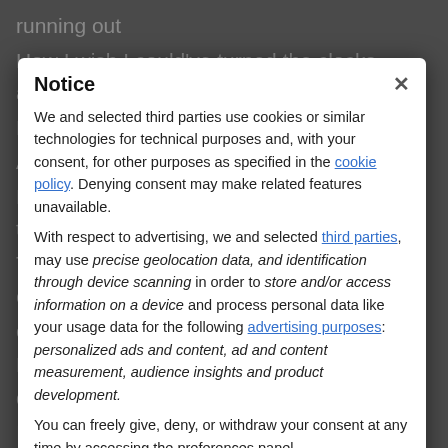running out
How I wish I could've turned the clocks around
But the weight of the world is pulling me down
All I know is I don't want to be around
Don't know what you got until you fall into the ground
Time ime, time ime, time ime
Oh I can't sleep a night, every second counts
Holding the wheel so tight, are we breaking down
I never thought I would want us to turn back 'round
And run back into the sound
Just give me more time
Just give me more time
Just give me more time
Time it takes to break my heart, just tell me how we can make it out
Notice
We and selected third parties use cookies or similar technologies for technical purposes and, with your consent, for other purposes as specified in the cookie policy. Denying consent may make related features unavailable. With respect to advertising, we and selected third parties, may use precise geolocation data, and identification through device scanning in order to store and/or access information on a device and process personal data like your usage data for the following advertising purposes: personalized ads and content, ad and content measurement, audience insights and product development. You can freely give, deny, or withdraw your consent at any time by accessing the preferences panel.
Accept
Learn more and customize